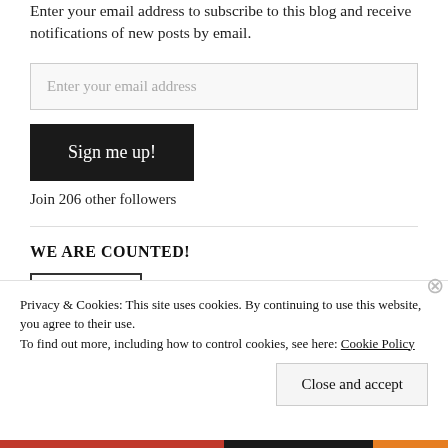Enter your email address to subscribe to this blog and receive notifications of new posts by email.
Enter your email address
Sign me up!
Join 206 other followers
WE ARE COUNTED!
Visitors
Privacy & Cookies: This site uses cookies. By continuing to use this website, you agree to their use.
To find out more, including how to control cookies, see here: Cookie Policy
Close and accept